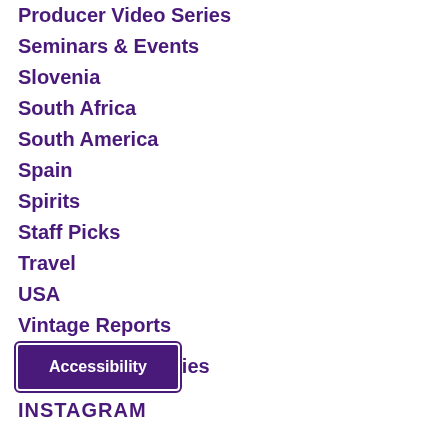Producer Video Series
Seminars & Events
Slovenia
South Africa
South America
Spain
Spirits
Staff Picks
Travel
USA
Vintage Reports
...ies
INSTAGRAM